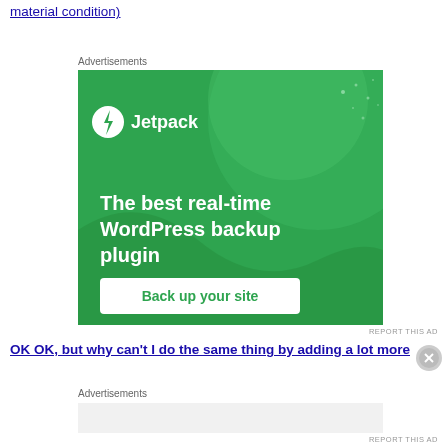material condition)
Advertisements
[Figure (illustration): Jetpack WordPress plugin advertisement banner: green background with Jetpack logo and text 'The best real-time WordPress backup plugin' and a 'Back up your site' button]
REPORT THIS AD
OK OK, but why can't I do the same thing by adding a lot more
Advertisements
REPORT THIS AD